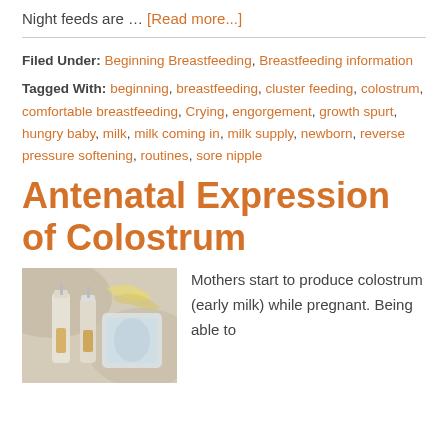Night feeds are … [Read more...]
Filed Under: Beginning Breastfeeding, Breastfeeding information
Tagged With: beginning, breastfeeding, cluster feeding, colostrum, comfortable breastfeeding, Crying, engorgement, growth spurt, hungry baby, milk, milk coming in, milk supply, newborn, reverse pressure softening, routines, sore nipple
Antenatal Expression of Colostrum
[Figure (photo): Photo of breast milk collection bags/syringes with colostrum]
Mothers start to produce colostrum (early milk) while pregnant. Being able to